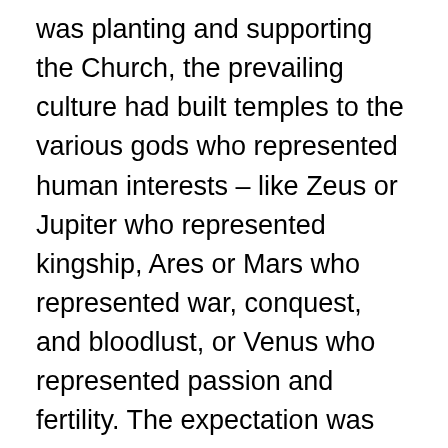was planting and supporting the Church, the prevailing culture had built temples to the various gods who represented human interests – like Zeus or Jupiter who represented kingship, Ares or Mars who represented war, conquest, and bloodlust, or Venus who represented passion and fertility. The expectation was that one would make a sacrifice to these gods for fear that they would retaliate and let your army lose in war, or cause you to be infertile, or cause your city to be overrun by enemies.  Many of these temples functioned as brothels, with young women and young boys sold into their service as slaves. Now, obviously, these statues weren't going to eat the meat sacrificed to